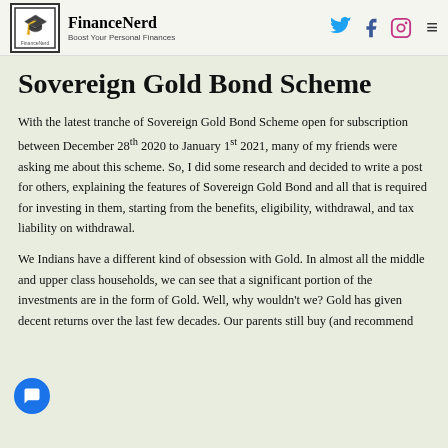FinanceNerd — Boost Your Personal Finances
Sovereign Gold Bond Scheme
With the latest tranche of Sovereign Gold Bond Scheme open for subscription between December 28th 2020 to January 1st 2021, many of my friends were asking me about this scheme. So, I did some research and decided to write a post for others, explaining the features of Sovereign Gold Bond and all that is required for investing in them, starting from the benefits, eligibility, withdrawal, and tax liability on withdrawal.
We Indians have a different kind of obsession with Gold. In almost all the middle and upper class households, we can see that a significant portion of the investments are in the form of Gold. Well, why wouldn't we? Gold has given decent returns over the last few decades. Our parents still buy (and recommend to buy) physical gold with a view that the prices will increase and they...